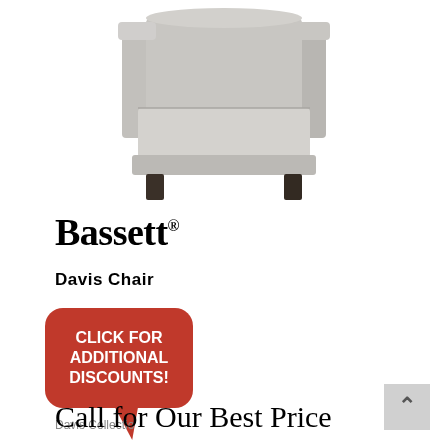[Figure (photo): Light gray upholstered armchair (Bassett Davis Chair) with dark wooden legs, photographed against a white background]
[Figure (logo): Bassett brand logo in bold serif font with registered trademark symbol]
Davis Chair
[Figure (infographic): Red rounded speech bubble with text: CLICK FOR ADDITIONAL DISCOUNTS!]
Davis Collectio
Call for Our Best Price